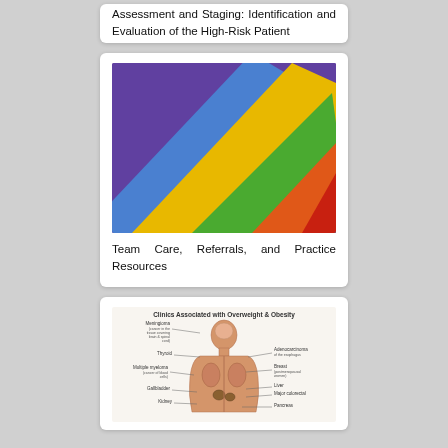Assessment and Staging: Identification and Evaluation of the High-Risk Patient
[Figure (illustration): Colorful diagonal rainbow stripes illustration used as book cover image — purple, blue, yellow, green, orange, red bands]
Team Care, Referrals, and Practice Resources
[Figure (illustration): Medical anatomy diagram titled 'Clinics Associated with Overweight & Obesity' showing human torso with labeled organs and associated cancer/disease sites including Meningioma, Thyroid, Adenocarcinoma of the esophagus, Multiple myeloma/cancer of blood cells, Breast, Gallbladder, Liver, Major colorectal, Kidney, Pancreas]